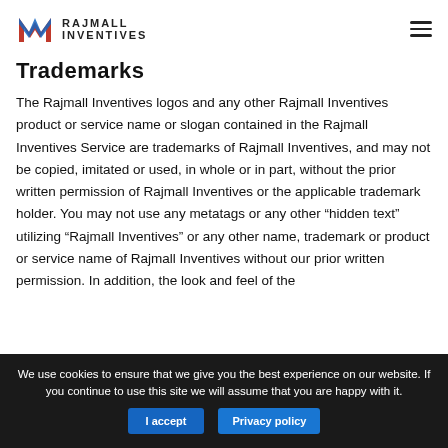RAJMALL INVENTIVES
Trademarks
The Rajmall Inventives logos and any other Rajmall Inventives product or service name or slogan contained in the Rajmall Inventives Service are trademarks of Rajmall Inventives, and may not be copied, imitated or used, in whole or in part, without the prior written permission of Rajmall Inventives or the applicable trademark holder. You may not use any metatags or any other “hidden text” utilizing “Rajmall Inventives” or any other name, trademark or product or service name of Rajmall Inventives without our prior written permission. In addition, the look and feel of the
We use cookies to ensure that we give you the best experience on our website. If you continue to use this site we will assume that you are happy with it.